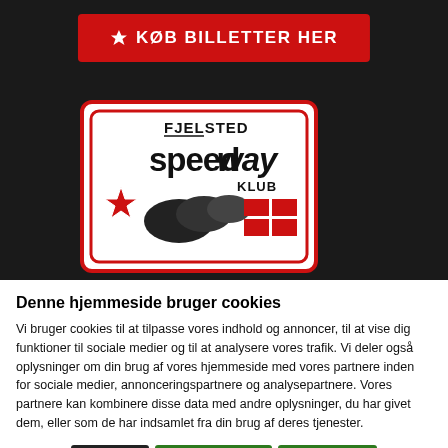[Figure (screenshot): Dark background header area of a Danish speedway club website]
KØB BILLETTER HER
[Figure (logo): Fjelsted Speedway Klub logo with motorcycles racing and Danish flag colors]
Denne hjemmeside bruger cookies
Vi bruger cookies til at tilpasse vores indhold og annoncer, til at vise dig funktioner til sociale medier og til at analysere vores trafik. Vi deler også oplysninger om din brug af vores hjemmeside med vores partnere inden for sociale medier, annonceringspartnere og analysepartnere. Vores partnere kan kombinere disse data med andre oplysninger, du har givet dem, eller som de har indsamlet fra din brug af deres tjenester.
Afvis | Tillad valgte | Tillad alle
Nødvendig  Præferencer  Statistik  Marketing  Vis detaljer